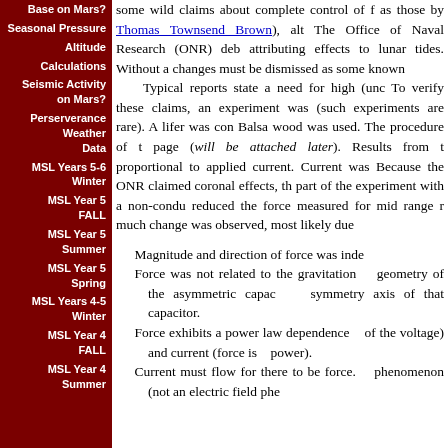Base on Mars?
Seasonal Pressure
Altitude
Calculations
Seismic Activity on Mars?
Perserverance Weather Data
MSL Years 5-6 Winter
MSL Year 5 FALL
MSL Year 5 Summer
MSL Year 5 Spring
MSL Years 4-5 Winter
MSL Year 4 FALL
MSL Year 4 Summer
some wild claims about complete control of f as those by Thomas Townsend Brown), alt The Office of Naval Research (ONR) deb attributing effects to lunar tides. Without a changes must be dismissed as some known Typical reports state a need for high (unc To verify these claims, an experiment was (such experiments are rare). A lifer was con Balsa wood was used. The procedure of t page (will be attached later). Results from t proportional to applied current. Current was Because the ONR claimed coronal effects, th part of the experiment with a non-condu reduced the force measured for mid range r much change was observed, most likely due
Magnitude and direction of force was inde
Force was not related to the gravitation geometry of the asymmetric capac symmetry axis of that capacitor.
Force exhibits a power law dependence of the voltage) and current (force is power).
Current must flow for there to be force. phenomenon (not an electric field phe